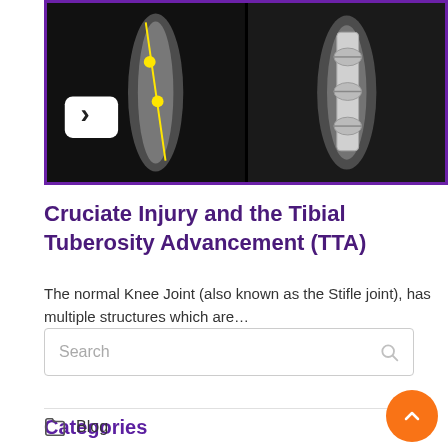[Figure (photo): Two medical X-ray images side by side showing a knee/tibial joint. Left image shows bone with yellow measurement dots and a yellow line, plus an arrow marker. Right image shows post-surgery hardware (metal plate and screws) implanted in the tibia. Both images framed with a purple border.]
Cruciate Injury and the Tibial Tuberosity Advancement (TTA)
The normal Knee Joint (also known as the Stifle joint), has multiple structures which are…
Search
Categories
Blog